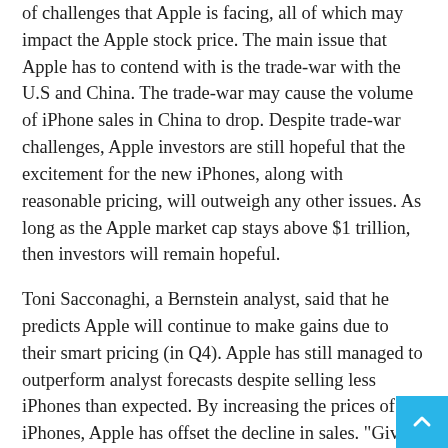of challenges that Apple is facing, all of which may impact the Apple stock price. The main issue that Apple has to contend with is the trade-war with the U.S and China. The trade-war may cause the volume of iPhone sales in China to drop. Despite trade-war challenges, Apple investors are still hopeful that the excitement for the new iPhones, along with reasonable pricing, will outweigh any other issues. As long as the Apple market cap stays above $1 trillion, then investors will remain hopeful.
Toni Sacconaghi, a Bernstein analyst, said that he predicts Apple will continue to make gains due to their smart pricing (in Q4). Apple has still managed to outperform analyst forecasts despite selling less iPhones than expected. By increasing the prices of iPhones, Apple has offset the decline in sales. "Given that Apple has changed its SKU [stock-keeping unit] strategy and pricing yet again (with initial launch of the iPhone XS Max and XS), we estima